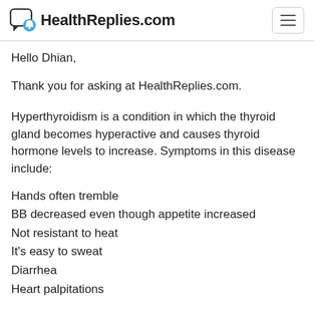HealthReplies.com
Hello Dhian,
Thank you for asking at HealthReplies.com.
Hyperthyroidism is a condition in which the thyroid gland becomes hyperactive and causes thyroid hormone levels to increase. Symptoms in this disease include:
Hands often tremble
BB decreased even though appetite increased
Not resistant to heat
It's easy to sweat
Diarrhea
Heart palpitations